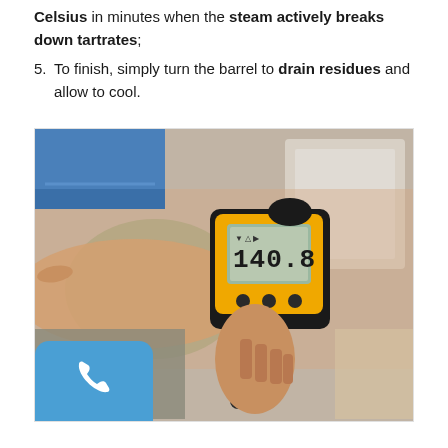Celsius in minutes when the steam actively breaks down tartrates;
5. To finish, simply turn the barrel to drain residues and allow to cool.
[Figure (photo): A person holding a yellow and black infrared thermometer gun displaying a reading of 140.8 degrees. The background shows a blurred indoor setting.]